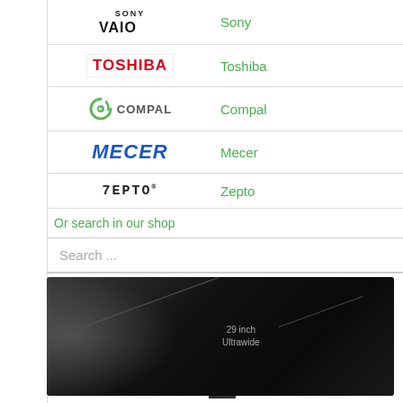[Figure (logo): Sony VAIO logo]
Sony
[Figure (logo): Toshiba logo in red bold text]
Toshiba
[Figure (logo): Compal logo with green swirl icon]
Compal
[Figure (logo): Mecer logo in bold blue italic text]
Mecer
[Figure (logo): Zepto logo in monospace text]
Zepto
Or search in our shop
Search ...
[Figure (photo): 29 inch Ultrawide monitor on dark background]